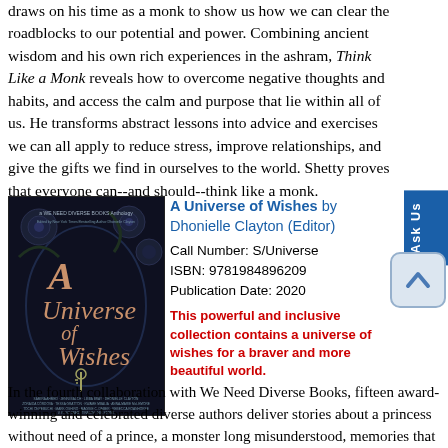draws on his time as a monk to show us how we can clear the roadblocks to our potential and power. Combining ancient wisdom and his own rich experiences in the ashram, Think Like a Monk reveals how to overcome negative thoughts and habits, and access the calm and purpose that lie within all of us. He transforms abstract lessons into advice and exercises we can all apply to reduce stress, improve relationships, and give the gifts we find in ourselves to the world. Shetty proves that everyone can--and should--think like a monk.
[Figure (photo): Book cover of 'A Universe of Wishes' - dark background with floral and ornamental illustration, a WE NEED DIVERSE BOOKS anthology]
A Universe of Wishes by Dhonielle Clayton (Editor)
Call Number: S/Universe
ISBN: 9781984896209
Publication Date: 2020
This powerful and inclusive collection contains a universe of wishes for a braver and more beautiful world.
In the fourth collaboration with We Need Diverse Books, fifteen award-winning and celebrated diverse authors deliver stories about a princess without need of a prince, a monster long misunderstood, memories that vanish with a spell, and voices that refuse to stay silent in the face of injustice. AUTHORS INCLUDE- Samira Ahmed, Jenni Balch, Libba Bray, Dhonielle Clayton, Zoraida